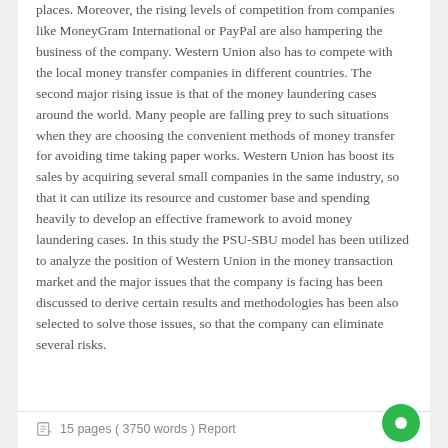places. Moreover, the rising levels of competition from companies like MoneyGram International or PayPal are also hampering the business of the company. Western Union also has to compete with the local money transfer companies in different countries. The second major rising issue is that of the money laundering cases around the world. Many people are falling prey to such situations when they are choosing the convenient methods of money transfer for avoiding time taking paper works. Western Union has boost its sales by acquiring several small companies in the same industry, so that it can utilize its resource and customer base and spending heavily to develop an effective framework to avoid money laundering cases. In this study the PSU-SBU model has been utilized to analyze the position of Western Union in the money transaction market and the major issues that the company is facing has been discussed to derive certain results and methodologies has been also selected to solve those issues, so that the company can eliminate several risks.
15 pages ( 3750 words ) Report